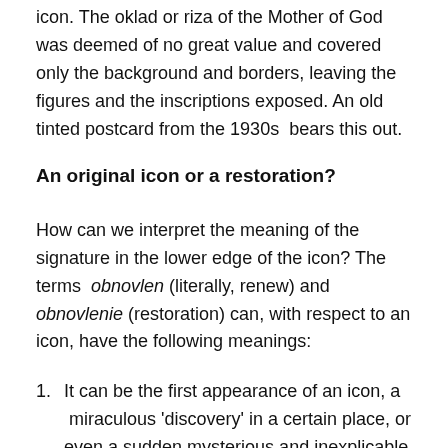icon. The oklad or riza of the Mother of God was deemed of no great value and covered only the background and borders, leaving the figures and the inscriptions exposed. An old tinted postcard from the 1930s  bears this out.
An original icon or a restoration?
How can we interpret the meaning of the signature in the lower edge of the icon? The terms obnovlen (literally, renew) and obnovlenie (restoration) can, with respect to an icon, have the following meanings:
It can be the first appearance of an icon, a miraculous 'discovery' in a certain place, or even a sudden mysterious and inexplicable sighting of an old, damaged icon. This 'occurrence' lies at the heart of its veneration